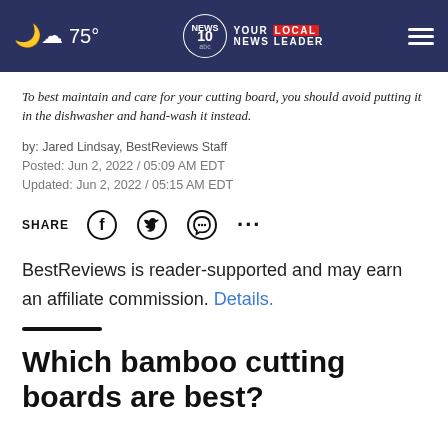75° NEWS 10 YOUR LOCAL NEWS LEADER
To best maintain and care for your cutting board, you should avoid putting it in the dishwasher and hand-wash it instead.
by: Jared Lindsay, BestReviews Staff
Posted: Jun 2, 2022 / 05:09 AM EDT
Updated: Jun 2, 2022 / 05:15 AM EDT
SHARE
BestReviews is reader-supported and may earn an affiliate commission. Details.
Which bamboo cutting boards are best?